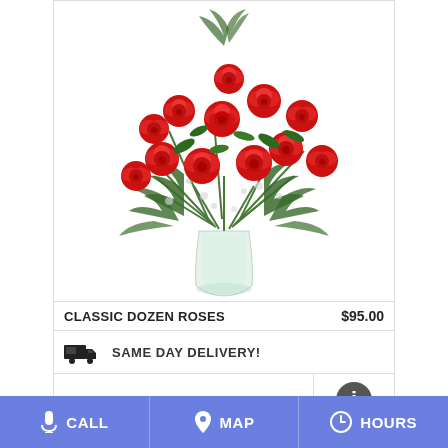[Figure (photo): A bouquet of twelve red roses with green ferns and white filler flowers arranged in a clear glass vase]
CLASSIC DOZEN ROSES    $95.00
SAME DAY DELIVERY!
BUY NOW
CALL   MAP   HOURS